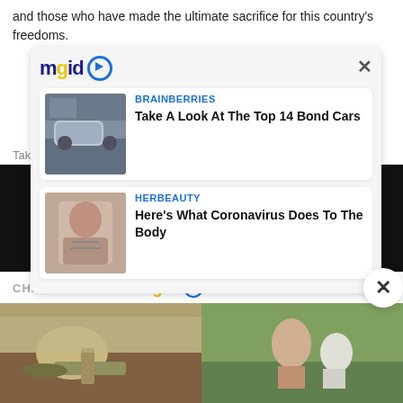and those who have made the ultimate sacrifice for this country's freedoms.
Take a listen to John Wayne's below...
[Figure (screenshot): MGID ad widget popup with two content cards: 1) BRAINBERRIES - Take A Look At The Top 14 Bond Cars (with image of man leaning on sports car), 2) HERBEAUTY - Here's What Coronavirus Does To The Body (with image of woman with medical tubes)]
CHECK THIS OUT mgid
[Figure (photo): Two thumbnail images side by side: left shows some kind of creature/fish on rocks, right shows two people (one with white hair) outdoors]